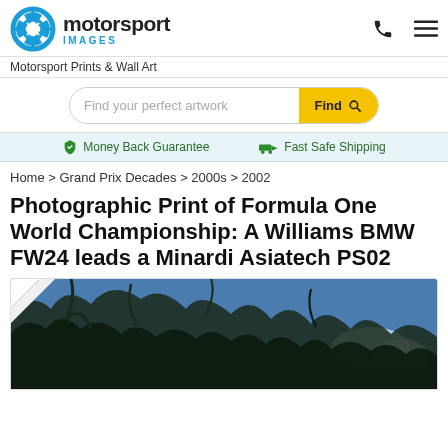[Figure (logo): Motorsport Images logo with blue circular shutter icon and text 'motorsport IMAGES']
Motorsport Prints & Wall Art
Find your perfect artwork  Find
Money Back Guarantee   Fast Safe Shipping
Home > Grand Prix Decades > 2000s > 2002
Photographic Print of Formula One World Championship: A Williams BMW FW24 leads a Minardi Asiatech PS02
[Figure (photo): Partial product photo showing trees silhouetted against blue sky, partially obscured by page curl effect in top-left corner]